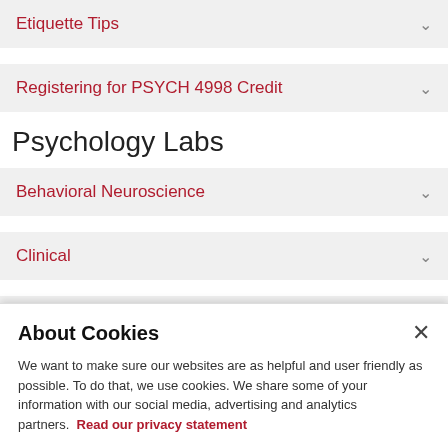Etiquette Tips
Registering for PSYCH 4998 Credit
Psychology Labs
Behavioral Neuroscience
Clinical
Cognitive
About Cookies
We want to make sure our websites are as helpful and user friendly as possible. To do that, we use cookies. We share some of your information with our social media, advertising and analytics partners. Read our privacy statement